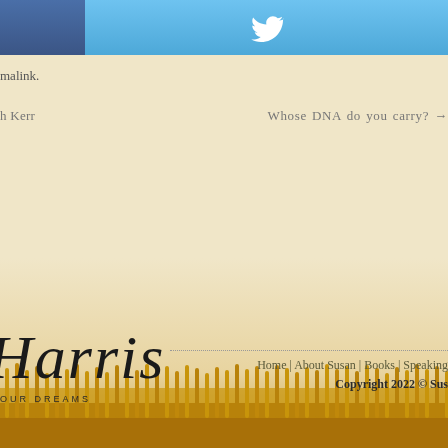[Figure (other): Twitter share button bar with dark blue left section and light blue right section containing a white Twitter bird icon]
malink.
h Kerr                Whose DNA do you carry? →
[Figure (illustration): Wheat field background with golden wheat stalks in the lower portion, a cursive script logo reading 'Harris' and tagline 'OUR DREAMS']
Home | About Susan | Books | Speaking
Copyright 2022 © Sus